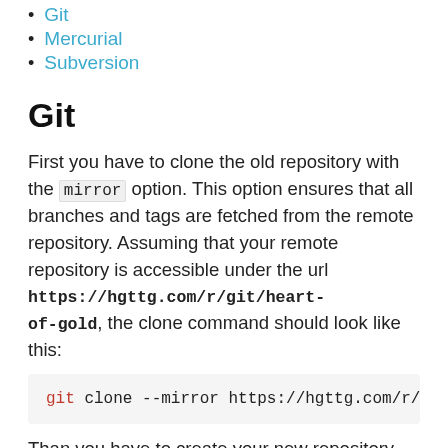Git
Mercurial
Subversion
Git
First you have to clone the old repository with the mirror option. This option ensures that all branches and tags are fetched from the remote repository. Assuming that your remote repository is accessible under the url https://hgttg.com/r/git/heart-of-gold, the clone command should look like this:
git clone --mirror https://hgttg.com/r/g
Than you have to create your new repository via the SCM-Manager web interface and copy the url. In this example we assume that the new repository is available